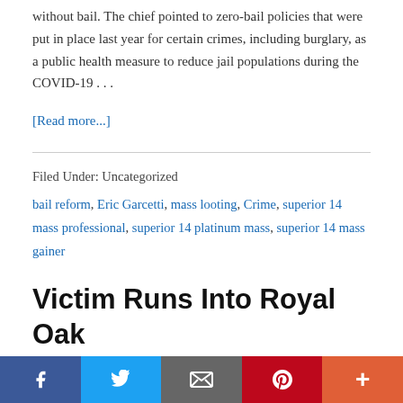without bail. The chief pointed to zero-bail policies that were put in place last year for certain crimes, including burglary, as a public health measure to reduce jail populations during the COVID-19 … [Read more...]
Filed Under: Uncategorized
bail reform, Eric Garcetti, mass looting, Crime, superior 14 mass professional, superior 14 platinum mass, superior 14 mass gainer
Victim Runs Into Royal Oak T...